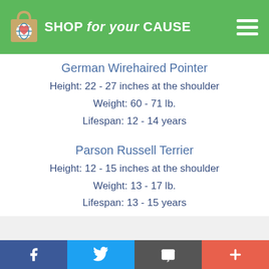SHOP for your CAUSE
German Wirehaired Pointer
Height: 22 - 27 inches at the shoulder
Weight: 60 - 71 lb.
Lifespan: 12 - 14 years
Parson Russell Terrier
Height: 12 - 15 inches at the shoulder
Weight: 13 - 17 lb.
Lifespan: 13 - 15 years
f | twitter | email | +